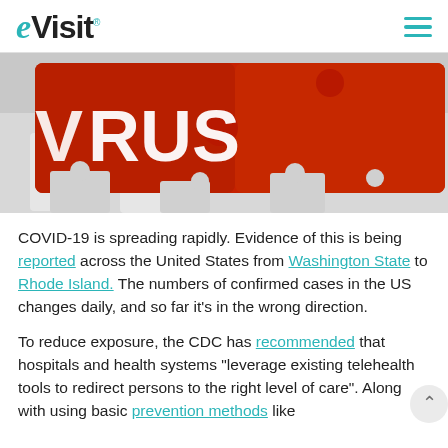eVisit
[Figure (photo): Red puzzle pieces spelling 'VIRUS' on a white puzzle background, close-up photo]
COVID-19 is spreading rapidly. Evidence of this is being reported across the United States from Washington State to Rhode Island. The numbers of confirmed cases in the US changes daily, and so far it's in the wrong direction.
To reduce exposure, the CDC has recommended that hospitals and health systems "leverage existing telehealth tools to redirect persons to the right level of care". Along with using basic prevention methods like